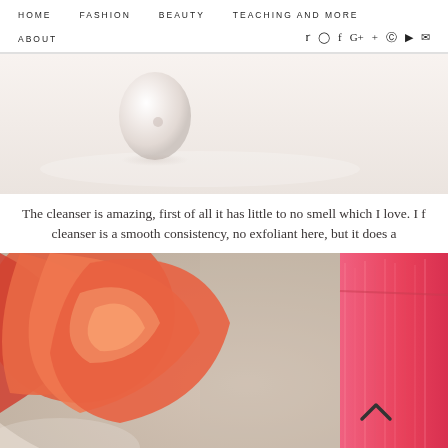HOME   FASHION   BEAUTY   TEACHING AND MORE   ABOUT
[Figure (photo): Top cropped photo showing a pale pink egg-shaped object (possibly a beauty device) on a light surface, soft focus background]
The cleanser is amazing, first of all it has little to no smell which I love. I f... cleanser is a smooth consistency, no exfoliant here, but it does a...
[Figure (photo): Bottom photo showing an orange/coral rose in the foreground, a beige textured surface, and a bright pink fluffy fabric on the right side, with a back-to-top chevron arrow overlay]